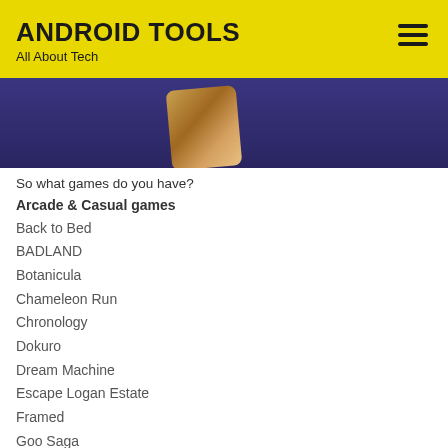ANDROID TOOLS
All About Tech
[Figure (photo): Partial view of a smartphone with gold/bronze casing against a dark navy/purple background]
So what games do you have?
Arcade & Casual games
Back to Bed
BADLAND
Botanicula
Chameleon Run
Chronology
Dokuro
Dream Machine
Escape Logan Estate
Framed
Goo Saga
In Between
King of Opera
Leo's Fortune
Link Twin